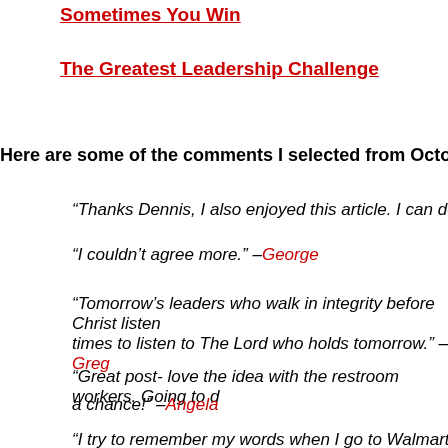Sometimes You Win
The Greatest Leadership Challenge
Here are some of the comments I selected from October:
“Thanks Dennis, I also enjoyed this article. I can definitely iden…
“I couldn’t agree more.” –George
“Tomorrow’s leaders who walk in integrity before Christ listen… times to listen to The Lord who holds tomorrow.” –Greg
“Great post- love the idea with the restroom workers. Going to… a chance!” –Angela
“I try to remember my words when I go to Walmart. I think… Talking to people on a daily bases, I try to bring out the best in… about themselves. I really have to practice that concept with C… stay positive too.” –Lillian
“Dennis, thanks for reminding me of the power of my words to…